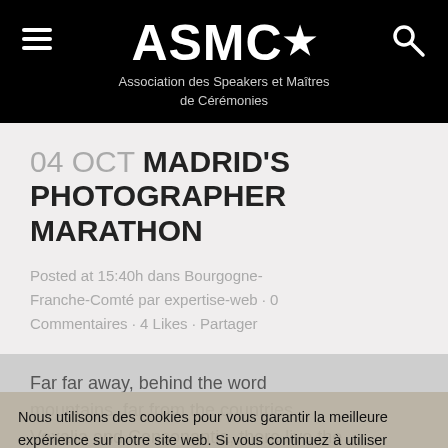ASMC* Association des Speakers et Maitres de Cérémonies
04 OCT MADRID'S PHOTOGRAPHER MARATHON
Posted at 15:40h dans Bourgogne-Franche-Comté par expertise-web · 0 Commentaires · 4 Likes · Partager
Far far away, behind the word mountains, far from the countries Voxalia and Consonantia, there live the blind texts. Separated they live in Bookmarksgrove right at the coast of
Nous utilisons des cookies pour vous garantir la meilleure expérience sur notre site web. Si vous continuez à utiliser ce site, nous supposerons que vous en êtes satisfait.